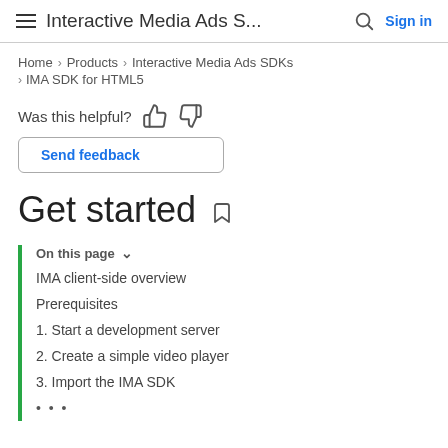Interactive Media Ads S... Sign in
Home > Products > Interactive Media Ads SDKs > IMA SDK for HTML5
Was this helpful?
Send feedback
Get started
On this page
IMA client-side overview
Prerequisites
1. Start a development server
2. Create a simple video player
3. Import the IMA SDK
...